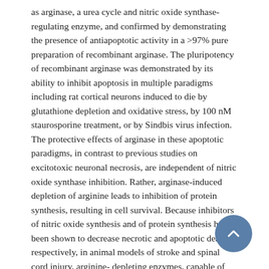as arginase, a urea cycle and nitric oxide synthase-regulating enzyme, and confirmed by demonstrating the presence of antiapoptotic activity in a >97% pure preparation of recombinant arginase. The pluripotency of recombinant arginase was demonstrated by its ability to inhibit apoptosis in multiple paradigms including rat cortical neurons induced to die by glutathione depletion and oxidative stress, by 100 nM staurosporine treatment, or by Sindbis virus infection. The protective effects of arginase in these apoptotic paradigms, in contrast to previous studies on excitotoxic neuronal necrosis, are independent of nitric oxide synthase inhibition. Rather, arginase-induced depletion of arginine leads to inhibition of protein synthesis, resulting in cell survival. Because inhibitors of nitric oxide synthesis and of protein synthesis have been shown to decrease necrotic and apoptotic death, respectively, in animal models of stroke and spinal cord injury, arginine- depleting enzymes, capable of simultaneously inhibiting protein synthesis and nitric oxide generation, may be propitious therapeutic agents for acute neurological diseases. Furthermore, our results suggest caution in attributing the cytoprotective effects of some catalase preparations to catalase.